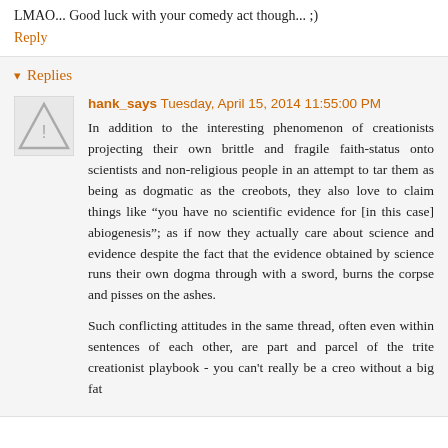LMAO... Good luck with your comedy act though... ;)
Reply
▾ Replies
hank_says Tuesday, April 15, 2014 11:55:00 PM
In addition to the interesting phenomenon of creationists projecting their own brittle and fragile faith-status onto scientists and non-religious people in an attempt to tar them as being as dogmatic as the creobots, they also love to claim things like "you have no scientific evidence for [in this case] abiogenesis"; as if now they actually care about science and evidence despite the fact that the evidence obtained by science runs their own dogma through with a sword, burns the corpse and pisses on the ashes.

Such conflicting attitudes in the same thread, often even within sentences of each other, are part and parcel of the trite creationist playbook - you can't really be a creo without a big fat